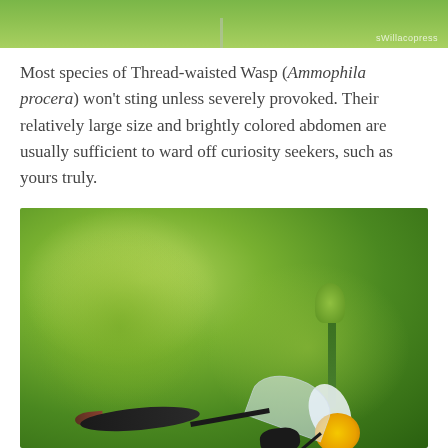[Figure (photo): Partial top view of a Thread-waisted Wasp photo, showing green blurred background with a thin vertical stem, and a watermark reading 'sWillacopress' in the lower right]
Most species of Thread-waisted Wasp (Ammophila procera) won't sting unless severely provoked. Their relatively large size and brightly colored abdomen are usually sufficient to ward off curiosity seekers, such as yours truly.
[Figure (photo): Close-up macro photograph of a Thread-waisted Wasp (Ammophila procera) on a white flower with yellow center stamens, set against a blurred green background with plant stems and buds]